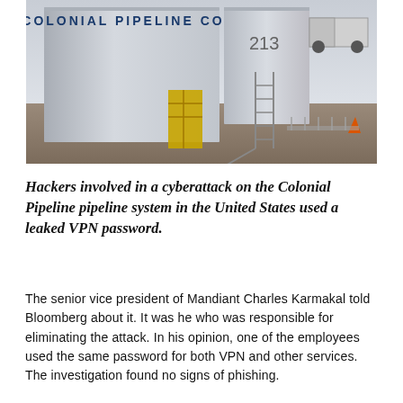[Figure (photo): Photo of Colonial Pipeline Co storage tanks facility. Large cylindrical white storage tanks labeled with 'COLONIAL PIPELINE CO' text visible at top, number 213 on tank, yellow industrial structure, metal stairs/scaffolding, a truck in background, orange safety cone, industrial ground area.]
Hackers involved in a cyberattack on the Colonial Pipeline pipeline system in the United States used a leaked VPN password.
The senior vice president of Mandiant Charles Karmakal told Bloomberg about it. It was he who was responsible for eliminating the attack. In his opinion, one of the employees used the same password for both VPN and other services. The investigation found no signs of phishing.